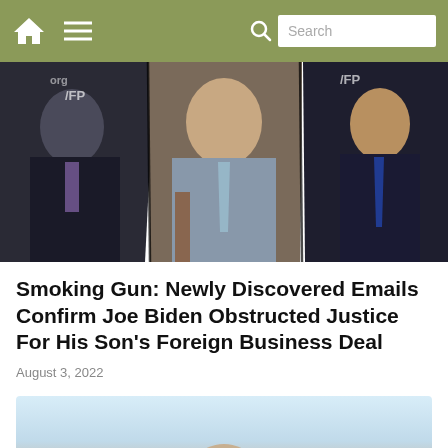Navigation bar with home icon, menu icon, search icon, and search box
[Figure (photo): Three-panel photo collage showing three men in suits: left panel shows an older man speaking at a podium with WFP logo, center panel shows a bald middle-aged man in a gray suit with a blue tie, right panel shows a younger man in a dark suit with a blue tie, also with WFP logo visible]
Smoking Gun: Newly Discovered Emails Confirm Joe Biden Obstructed Justice For His Son's Foreign Business Deal
August 3, 2022
[Figure (photo): Partial image at bottom of page showing a light blue background with partial view of a person]